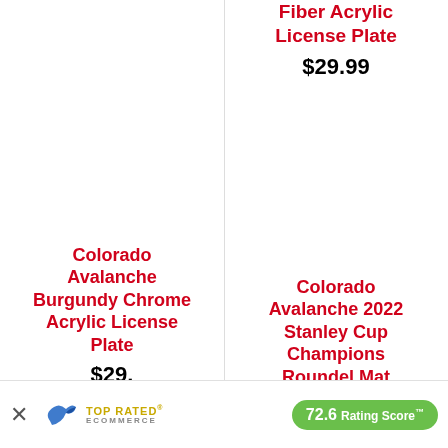Fiber Acrylic License Plate
$29.99
Colorado Avalanche Burgundy Chrome Acrylic License Plate
$29.
Colorado Avalanche 2022 Stanley Cup Champions Roundel Mat
[Figure (infographic): Top Rated Ecommerce banner with bird logo, 72.6 Rating Score badge in green, and X close button]